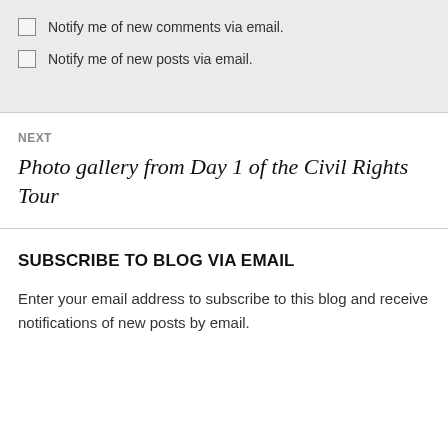Notify me of new comments via email.
Notify me of new posts via email.
NEXT
Photo gallery from Day 1 of the Civil Rights Tour
SUBSCRIBE TO BLOG VIA EMAIL
Enter your email address to subscribe to this blog and receive notifications of new posts by email.